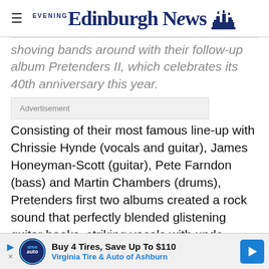Edinburgh Evening News
shoving bands around with their follow-up album Pretenders II, which celebrates its 40th anniversary this year.
[Figure (other): Advertisement placeholder box with text 'Advertisement']
Consisting of their most famous line-up with Chrissie Hynde (vocals and guitar), James Honeyman-Scott (guitar), Pete Farndon (bass) and Martin Chambers (drums), Pretenders first two albums created a rock sound that perfectly blended glistening guitar hooks, striking vocals with underpinned o
[Figure (other): Advertisement banner: Buy 4 Tires, Save Up To $110 – Virginia Tire & Auto of Ashburn]